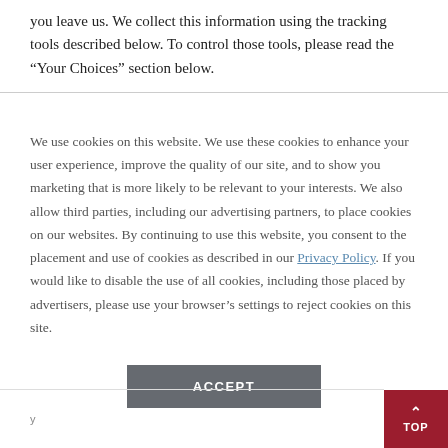you leave us. We collect this information using the tracking tools described below. To control those tools, please read the "Your Choices" section below.
We use cookies on this website. We use these cookies to enhance your user experience, improve the quality of our site, and to show you marketing that is more likely to be relevant to your interests. We also allow third parties, including our advertising partners, to place cookies on our websites. By continuing to use this website, you consent to the placement and use of cookies as described in our Privacy Policy. If you would like to disable the use of all cookies, including those placed by advertisers, please use your browser's settings to reject cookies on this site.
ACCEPT